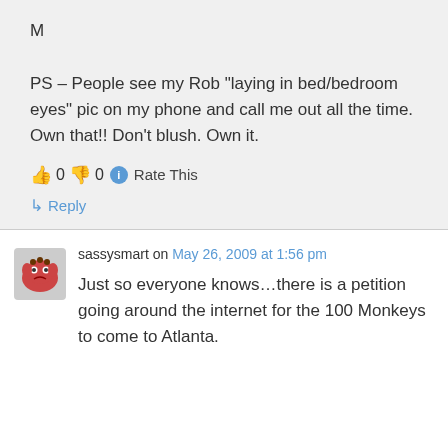M

PS – People see my Rob "laying in bed/bedroom eyes" pic on my phone and call me out all the time. Own that!! Don't blush. Own it.
👍 0 👎 0 ℹ Rate This
↳ Reply
sassysmart on May 26, 2009 at 1:56 pm
Just so everyone knows...there is a petition going around the internet for the 100 Monkeys to come to Atlanta.